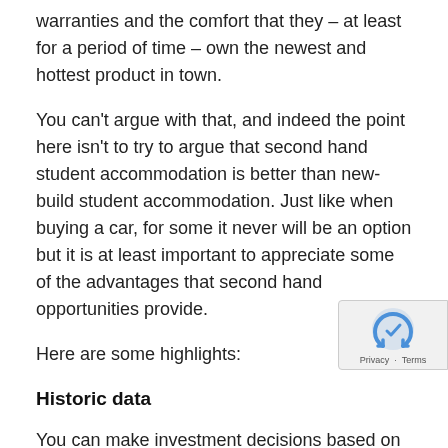warranties and the comfort that they – at least for a period of time – own the newest and hottest product in town.
You can't argue with that, and indeed the point here isn't to try to argue that second hand student accommodation is better than new-build student accommodation. Just like when buying a car, for some it never will be an option but it is at least important to appreciate some of the advantages that second hand opportunities provide.
Here are some highlights:
Historic data
You can make investment decisions based on accurate data specifically about the asset. This de-risks any acquisition. The ability to draw down on three year utility costs can help to better define gross to net assumptions. where similarly three year occupancy records will si both void and rental growth expectations. If the ass performed a certain way in the past, there is no reason